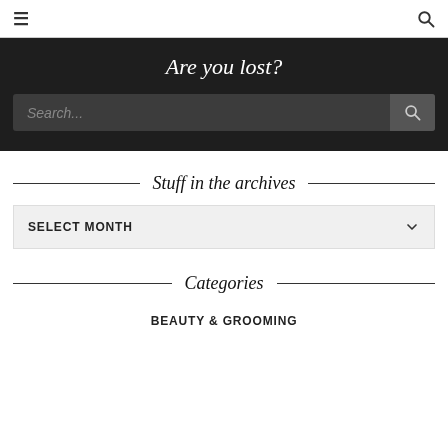☰  🔍
Are you lost?
Search...
Stuff in the archives
SELECT MONTH
Categories
BEAUTY & GROOMING